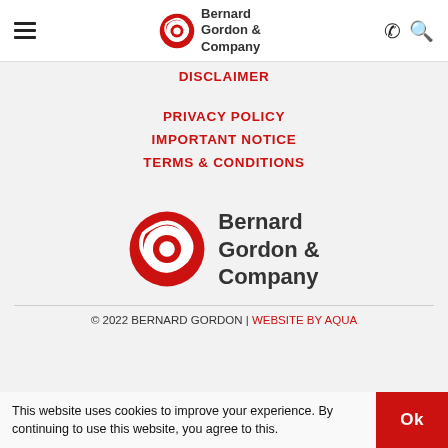Bernard Gordon & Company — navigation header with hamburger menu, logo, phone and search icons
DISCLAIMER
PRIVACY POLICY
IMPORTANT NOTICE
TERMS & CONDITIONS
[Figure (logo): Bernard Gordon & Company logo — red spiral/eye icon with company name in dark text]
© 2022 BERNARD GORDON | WEBSITE BY AQUA
This website uses cookies to improve your experience. By continuing to use this website, you agree to this.